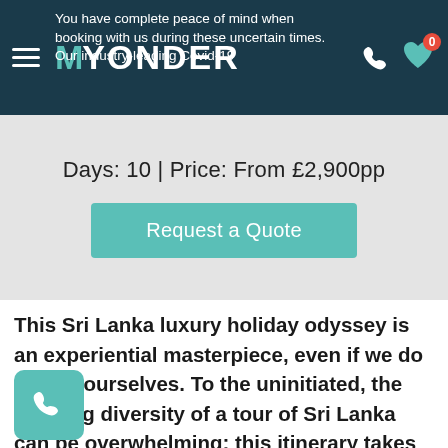MYONDER
You have complete peace of mind when booking with us during these uncertain times. Our industry-leading Covid-19
Days: 10 | Price: From £2,900pp
Request a Quote
This Sri Lanka luxury holiday odyssey is an experiential masterpiece, even if we do say so ourselves. To the uninitiated, the dizzying diversity of a tour of Sri Lanka can be overwhelming; this itinerary takes all the confusion away, while covering a lot of jaw-dropping ground by planes, trains and automobiles.